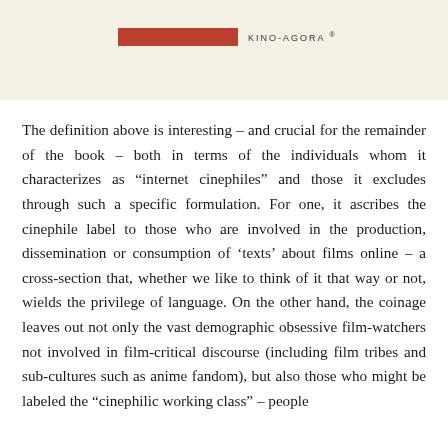KINO-AGORA
The definition above is interesting – and crucial for the remainder of the book – both in terms of the individuals whom it characterizes as “internet cinephiles” and those it excludes through such a specific formulation. For one, it ascribes the cinephile label to those who are involved in the production, dissemination or consumption of ‘texts’ about films online – a cross-section that, whether we like to think of it that way or not, wields the privilege of language. On the other hand, the coinage leaves out not only the vast demographic obsessive film-watchers not involved in film-critical discourse (including film tribes and sub-cultures such as anime fandom), but also those who might be labeled the “cinephilic working class” – people